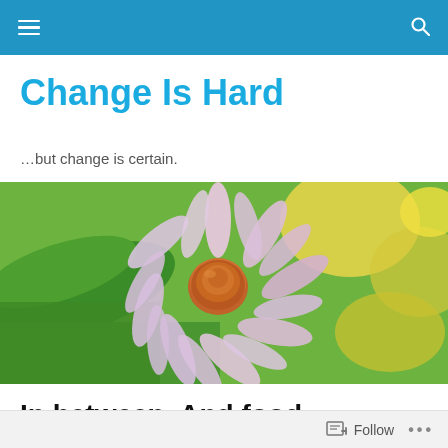Change Is Hard — …but change is certain.
Change Is Hard
…but change is certain.
[Figure (photo): Close-up photo of a pink coneflower (echinacea) in bloom with an orange center, surrounded by green leaves and yellow flowers in soft focus background.]
In between. And food.
Follow ...